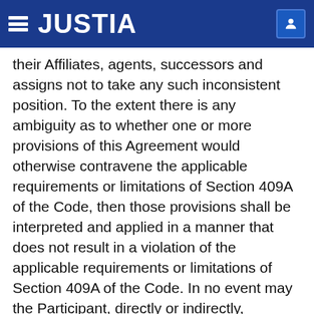JUSTIA
their Affiliates, agents, successors and assigns not to take any such inconsistent position. To the extent there is any ambiguity as to whether one or more provisions of this Agreement would otherwise contravene the applicable requirements or limitations of Section 409A of the Code, then those provisions shall be interpreted and applied in a manner that does not result in a violation of the applicable requirements or limitations of Section 409A of the Code. In no event may the Participant, directly or indirectly, designate the calendar year of a payment. Neither the Company nor its directors, officers, employees or advisers shall be liable to the Participant (or any individual claiming a benefit through the Participant) for any tax, interest or penalties the Participant may owe as a result of compensation or benefits paid under this